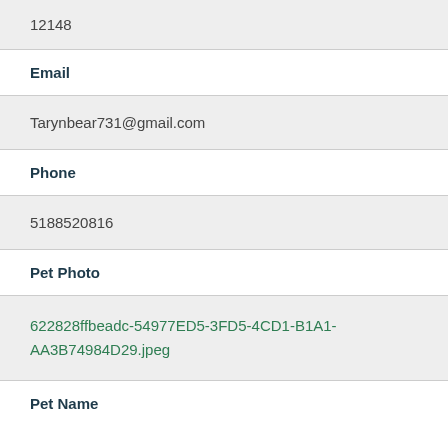12148
Email
Tarynbear731@gmail.com
Phone
5188520816
Pet Photo
622828ffbeadc-54977ED5-3FD5-4CD1-B1A1-AA3B74984D29.jpeg
Pet Name